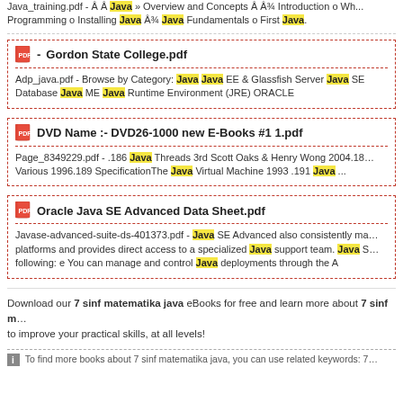Java_training.pdf - Â Â Java » Overview and Concepts Â Â¾ Introduction o Wh... Programming o Installing Java ¾ Java Fundamentals o First Java.
- Gordon State College.pdf
Adp_java.pdf - Browse by Category: Java Java EE & Glassfish Server Java SE Database Java ME Java Runtime Environment (JRE) ORACLE
DVD Name :- DVD26-1000 new E-Books #1 1.pdf
Page_8349229.pdf - .186 Java Threads 3rd Scott Oaks & Henry Wong 2004.187 Various 1996.189 SpecificationThe Java Virtual Machine 1993 .191 Java ...
Oracle Java SE Advanced Data Sheet.pdf
Javase-advanced-suite-ds-401373.pdf - Java SE Advanced also consistently ma... platforms and provides direct access to a specialized Java support team. Java S... following: e You can manage and control Java deployments through the A
Download our 7 sinf matematika java eBooks for free and learn more about 7 sinf m... to improve your practical skills, at all levels!
To find more books about 7 sinf matematika java, you can use related keywords: 7...